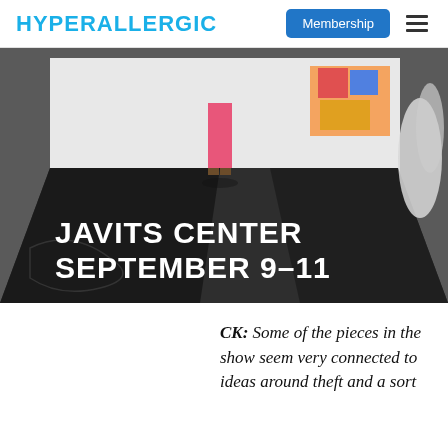HYPERALLERGIC
[Figure (photo): Gallery interior with a person in pink pants and boots standing on a dark floor, colorful abstract paintings on white walls, with text overlay reading JAVITS CENTER SEPTEMBER 9-11]
CK: Some of the pieces in the show seem very connected to ideas around theft and a sort